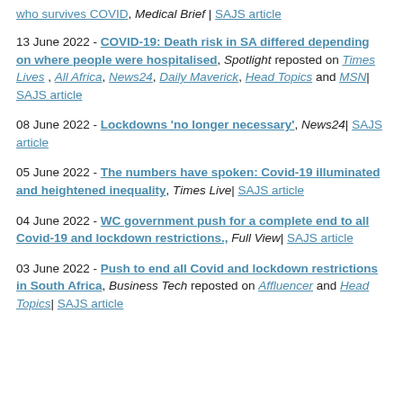who survives COVID, Medical Brief | SAJS article
13 June 2022 - COVID-19: Death risk in SA differed depending on where people were hospitalised, Spotlight reposted on Times Lives, All Africa, News24, Daily Maverick, Head Topics and MSN| SAJS article
08 June 2022 - Lockdowns 'no longer necessary', News24| SAJS article
05 June 2022 - The numbers have spoken: Covid-19 illuminated and heightened inequality, Times Live| SAJS article
04 June 2022 - WC government push for a complete end to all Covid-19 and lockdown restrictions., Full View| SAJS article
03 June 2022 - Push to end all Covid and lockdown restrictions in South Africa, Business Tech reposted on Affluencer and Head Topics| SAJS article